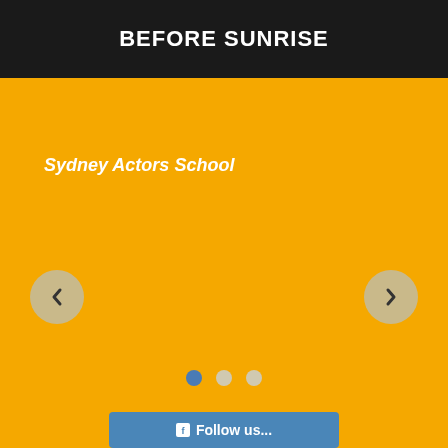BEFORE SUNRISE
Sydney Actors School
[Figure (screenshot): Carousel navigation interface with left and right arrow buttons on an orange background, and three pagination dots below]
Follow us...